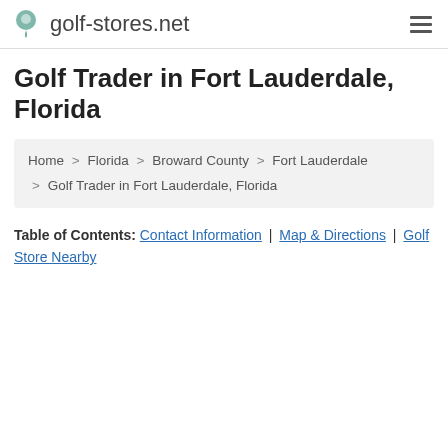golf-stores.net
Golf Trader in Fort Lauderdale, Florida
Home > Florida > Broward County > Fort Lauderdale > Golf Trader in Fort Lauderdale, Florida
Table of Contents: Contact Information | Map & Directions | Golf Store Nearby